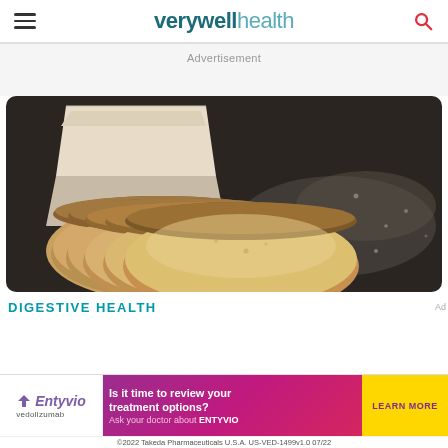verywell health
Advertisement
[Figure (photo): Sliced sourdough bread in a brown paper bag on a dark surface dusted with flour]
DIGESTIVE HEALTH
[Figure (infographic): Entyvio (vedolizumab) advertisement banner: 'Is it time to review your treatment options? Ask your doctor about ENTYVIO' with LEARN MORE button. ©2022 Takeda Pharmaceuticals U.S.A. US-VED-1499v1.0 07/22]